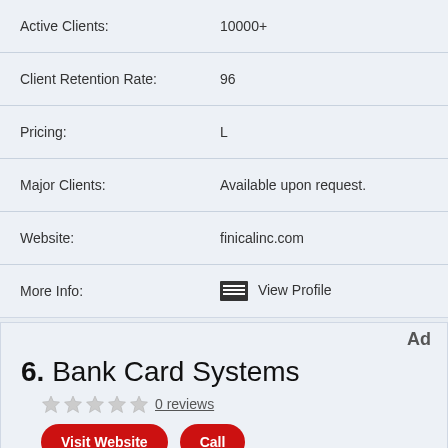| Field | Value |
| --- | --- |
| Active Clients: | 10000+ |
| Client Retention Rate: | 96 |
| Pricing: | L |
| Major Clients: | Available upon request. |
| Website: | finicalinc.com |
| More Info: | View Profile |
Ad
6. Bank Card Systems
0 reviews
Visit Website  Call
Key Facts For Bank Card Systems
| Field | Value |
| --- | --- |
| Location: | New Jersey, United States |
| Services: | Point of Sale Systems |